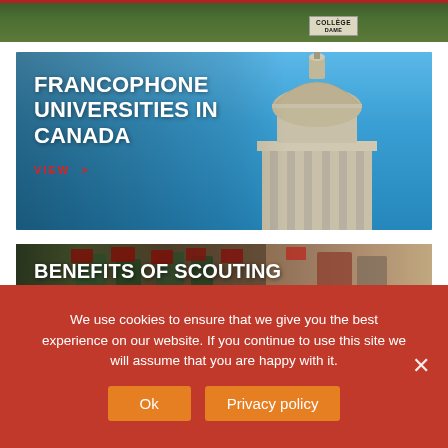[Figure (photo): Top strip showing building exterior with green foliage and a college sign reading COLLÈGE in the top right]
[Figure (photo): Banner image of a classical domed building (university) against a blue sky with white clouds]
FRANCOPHONE UNIVERSITIES IN CANADA
VIEW  >
[Figure (photo): Banner image of scouts in green uniforms marching with Canadian flags and drums]
BENEFITS OF SCOUTING
VIEW  >
We use cookies to ensure that we give you the best experience on our website. If you continue to use this site we will assume that you are happy with it.
Ok
Privacy policy